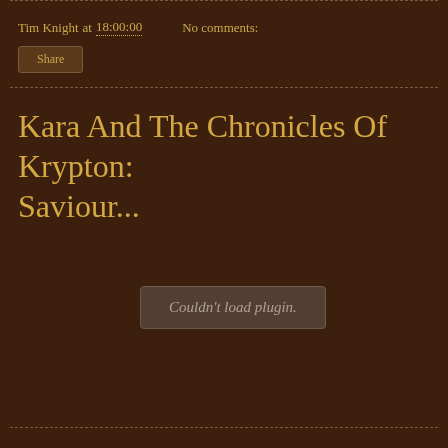Tim Knight at 18:00:00    No comments:
Share
Kara And The Chronicles Of Krypton: Saviour...
Couldn't load plugin.